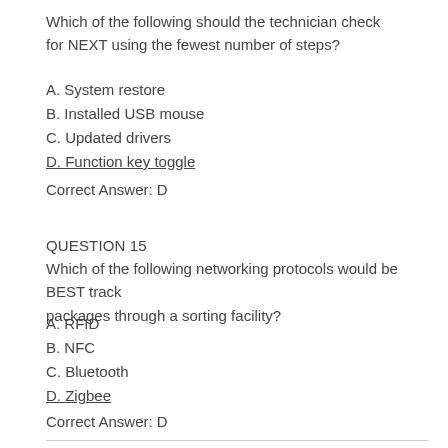Which of the following should the technician check for NEXT using the fewest number of steps?
A. System restore
B. Installed USB mouse
C. Updated drivers
D. Function key toggle
Correct Answer: D
QUESTION 15
Which of the following networking protocols would be BEST track packages through a sorting facility?
A. RFID
B. NFC
C. Bluetooth
D. Zigbee
Correct Answer: D
CompTIA 220-1001 exam questions and answers have been updated and confirmed. Guaranteed to be 100% true and valid. Get the